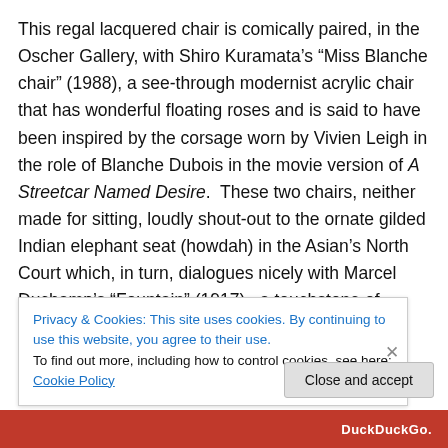This regal lacquered chair is comically paired, in the Oscher Gallery, with Shiro Kuramata’s “Miss Blanche chair” (1988), a see-through modernist acrylic chair that has wonderful floating roses and is said to have been inspired by the corsage worn by Vivien Leigh in the role of Blanche Dubois in the movie version of A Streetcar Named Desire.  These two chairs, neither made for sitting, loudly shout-out to the ornate gilded Indian elephant seat (howdah) in the Asian’s North Court which, in turn, dialogues nicely with Marcel Duchamp’s “Fountain” (1917), a touchstone of conceptual art, which has been
Privacy & Cookies: This site uses cookies. By continuing to use this website, you agree to their use.
To find out more, including how to control cookies, see here: Cookie Policy
Close and accept